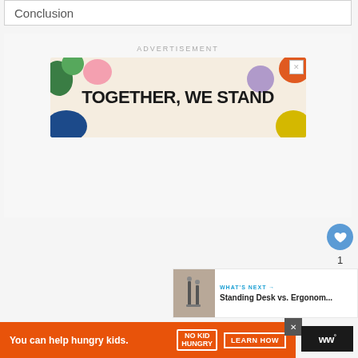Conclusion
ADVERTISEMENT
[Figure (illustration): Advertisement banner with colorful abstract shapes and bold text reading 'TOGETHER, WE STAND']
1
WHAT'S NEXT → Standing Desk vs. Ergonom...
You can help hungry kids. NO KID HUNGRY LEARN HOW